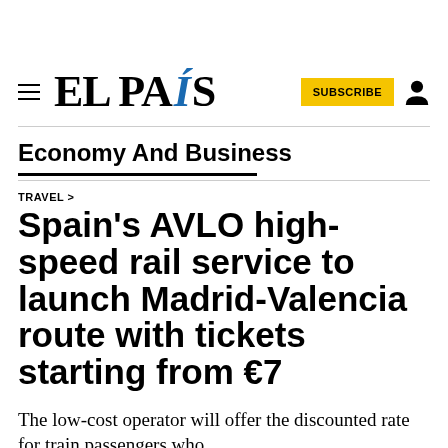EL PAÍS
Economy And Business
TRAVEL >
Spain's AVLO high-speed rail service to launch Madrid-Valencia route with tickets starting from €7
The low-cost operator will offer the discounted rate for train passengers who